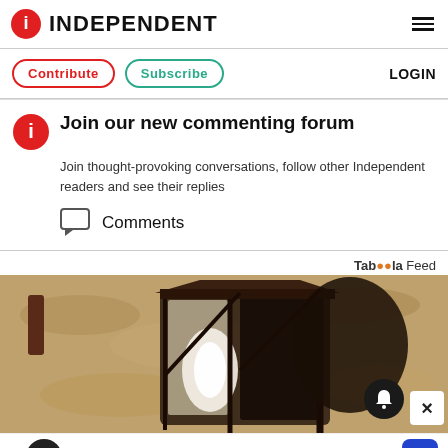INDEPENDENT
Contribute  Subscribe  LOGIN
Join our new commenting forum
Join thought-provoking conversations, follow other Independent readers and see their replies
Comments
Taboola Feed
[Figure (photo): Close-up photo of an outdoor lantern/wall light fixture with a bulb inside, mounted on a textured stone wall]
In-store shopping